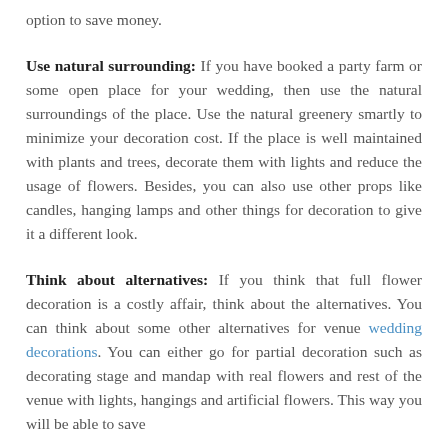option to save money.
Use natural surrounding: If you have booked a party farm or some open place for your wedding, then use the natural surroundings of the place. Use the natural greenery smartly to minimize your decoration cost. If the place is well maintained with plants and trees, decorate them with lights and reduce the usage of flowers. Besides, you can also use other props like candles, hanging lamps and other things for decoration to give it a different look.
Think about alternatives: If you think that full flower decoration is a costly affair, think about the alternatives. You can think about some other alternatives for venue wedding decorations. You can either go for partial decoration such as decorating stage and mandap with real flowers and rest of the venue with lights, hangings and artificial flowers. This way you will be able to save